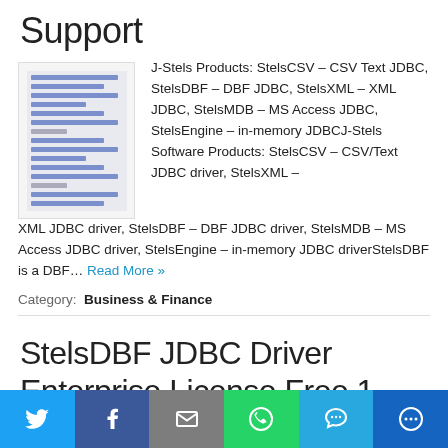Support
[Figure (screenshot): Thumbnail image of a software product document/webpage]
J-Stels Products: StelsCSV – CSV Text JDBC, StelsDBF – DBF JDBC, StelsXML – XML JDBC, StelsMDB – MS Access JDBC, StelsEngine – in-memory JDBCJ-Stels Software Products: StelsCSV – CSV/Text JDBC driver, StelsXML – XML JDBC driver, StelsDBF – DBF JDBC driver, StelsMDB – MS Access JDBC driver, StelsEngine – in-memory JDBC driverStelsDBF is a DBF… Read More »
Category: Business & Finance
StelsDBF JDBC Driver Enterprise License Free 1
[Figure (infographic): Social share bar with Twitter, Facebook, Email, WhatsApp, SMS, and More buttons]